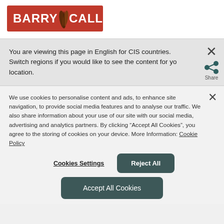[Figure (logo): Barry Callebaut logo — red rectangle with white text 'BARRY CALLEBAUT' and cocoa bean icon]
You are viewing this page in English for CIS countries. Switch regions if you would like to see the content for your location.
We use cookies to personalise content and ads, to enhance site navigation, to provide social media features and to analyse our traffic. We also share information about your use of our site with our social media, advertising and analytics partners. By clicking “Accept All Cookies”, you agree to the storing of cookies on your device. More Information: Cookie Policy
Cookies Settings
Reject All
Accept All Cookies